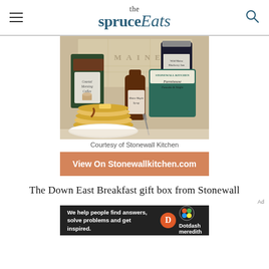the spruce Eats
[Figure (photo): Stonewall Kitchen Down East Breakfast gift box with Coastal Morning Coffee, Maine Maple Syrup, Wild Maine Blueberry Jam, Farmhouse Pancake & Waffle Mix, and a stack of pancakes on a plate]
Courtesy of Stonewall Kitchen
View On Stonewallkitchen.com
The Down East Breakfast gift box from Stonewall
[Figure (other): Dotdash Meredith advertisement banner: We help people find answers, solve problems and get inspired.]